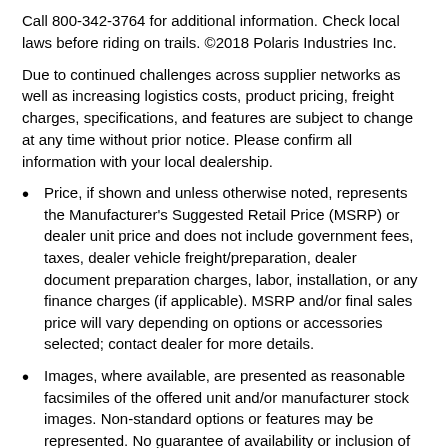Call 800-342-3764 for additional information. Check local laws before riding on trails. ©2018 Polaris Industries Inc.
Due to continued challenges across supplier networks as well as increasing logistics costs, product pricing, freight charges, specifications, and features are subject to change at any time without prior notice. Please confirm all information with your local dealership.
Price, if shown and unless otherwise noted, represents the Manufacturer's Suggested Retail Price (MSRP) or dealer unit price and does not include government fees, taxes, dealer vehicle freight/preparation, dealer document preparation charges, labor, installation, or any finance charges (if applicable). MSRP and/or final sales price will vary depending on options or accessories selected; contact dealer for more details.
Images, where available, are presented as reasonable facsimiles of the offered unit and/or manufacturer stock images. Non-standard options or features may be represented. No guarantee of availability or inclusion of displayed options should be inferred; contact dealer for more details.